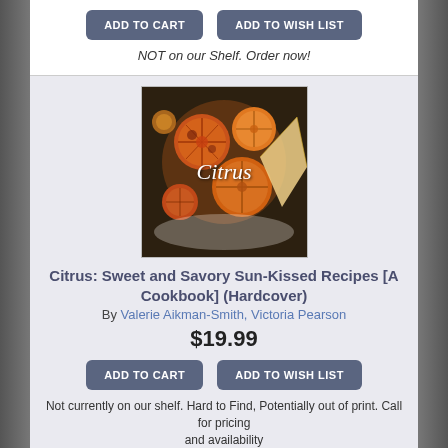[Figure (other): ADD TO CART and ADD TO WISH LIST buttons at top of page]
NOT on our Shelf. Order now!
[Figure (photo): Book cover for Citrus: Sweet and Savory Sun-Kissed Recipes showing a citrus tart with sliced blood oranges]
Citrus: Sweet and Savory Sun-Kissed Recipes [A Cookbook] (Hardcover)
By Valerie Aikman-Smith, Victoria Pearson
$19.99
[Figure (other): ADD TO CART and ADD TO WISH LIST buttons]
Not currently on our shelf. Hard to Find, Potentially out of print. Call for pricing and availability
[Figure (photo): Book cover for Cooking with Wild Berries & Fruits, showing berries on top and title text below]